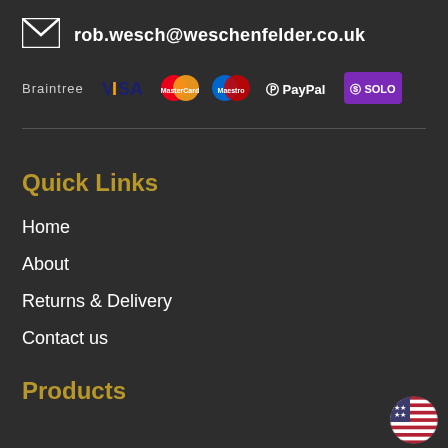rob.wesch@weschenfelder.co.uk
[Figure (logo): Payment provider logos: Braintree, VISA, MasterCard, Maestro, PayPal, SOLO]
Quick Links
Home
About
Returns & Delivery
Contact us
Products
[Figure (illustration): US flag circle icon in bottom right corner]